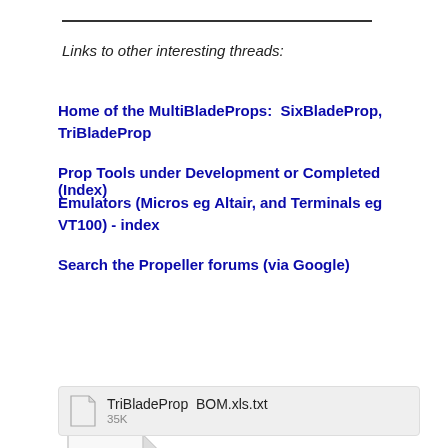Links to other interesting threads:
Home of the MultiBladeProps:  SixBladeProp, TriBladeProp
Prop Tools under Development or Completed (Index)
Emulators (Micros eg Altair, and Terminals eg VT100) - index
Search the Propeller forums (via Google)
My cruising website is:  www.bluemagic.biz
[Figure (other): TXT file icon — blank document with folded corner, labeled TXT at bottom]
TriBladeProp BOM.xls.txt  35K